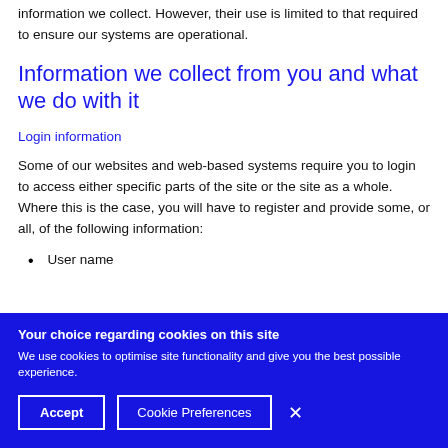information we collect. However, their use is limited to that required to ensure our systems are operational.
Information we collect from you and what we do with it
Login information
Some of our websites and web-based systems require you to login to access either specific parts of the site or the site as a whole. Where this is the case, you will have to register and provide some, or all, of the following information:
User name
Your choice regarding cookies on this site
We use cookies to optimise site functionality and give you the best possible experience.